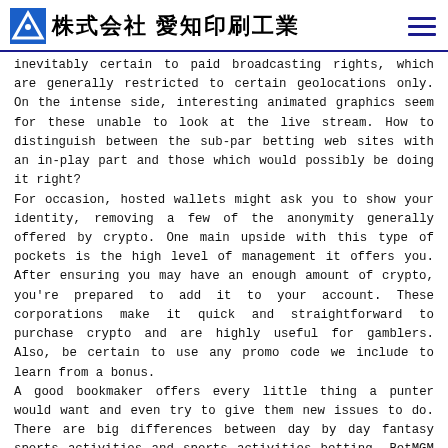株式会社 愛知印刷工業
inevitably certain to paid broadcasting rights, which are generally restricted to certain geolocations only. On the intense side, interesting animated graphics seem for these unable to look at the live stream. How to distinguish between the sub-par betting web sites with an in-play part and those which would possibly be doing it right?
For occasion, hosted wallets might ask you to show your identity, removing a few of the anonymity generally offered by crypto. One main upside with this type of pockets is the high level of management it offers you. After ensuring you may have an enough amount of crypto, you're prepared to add it to your account. These corporations make it quick and straightforward to purchase crypto and are highly useful for gamblers. Also, be certain to use any promo code we include to learn from a bonus.
A good bookmaker offers every little thing a punter would want and even try to give them new issues to do. There are big differences between day by day fantasy sports activities and sports activities betting. BetMGM has developed right into a market leader in numerous authorized states. A sturdy marketing push has helped the company acquire traction, as have a quantity of strategic marketing arrangements. Top highlights at BetMGM include a really deep bench of sports activities obtainable for betting. They would